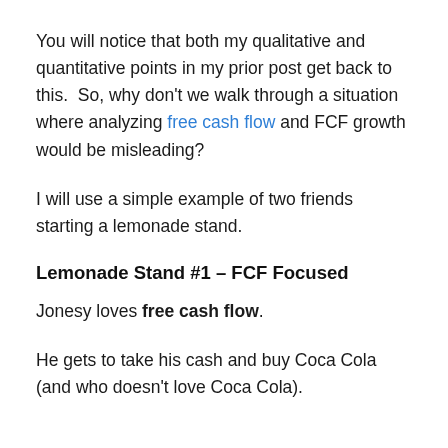You will notice that both my qualitative and quantitative points in my prior post get back to this. So, why don't we walk through a situation where analyzing free cash flow and FCF growth would be misleading?
I will use a simple example of two friends starting a lemonade stand.
Lemonade Stand #1 – FCF Focused
Jonesy loves free cash flow.
He gets to take his cash and buy Coca Cola (and who doesn't love Coca Cola).